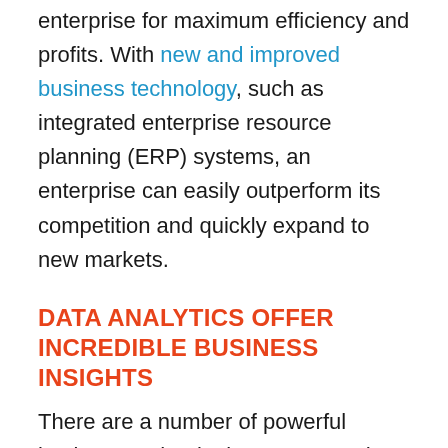enterprise for maximum efficiency and profits. With new and improved business technology, such as integrated enterprise resource planning (ERP) systems, an enterprise can easily outperform its competition and quickly expand to new markets.
DATA ANALYTICS OFFER INCREDIBLE BUSINESS INSIGHTS
There are a number of powerful business technologies put to good use by small and mid-sized enterprises (SMEs) today. One of the biggest tech trends right now is real-